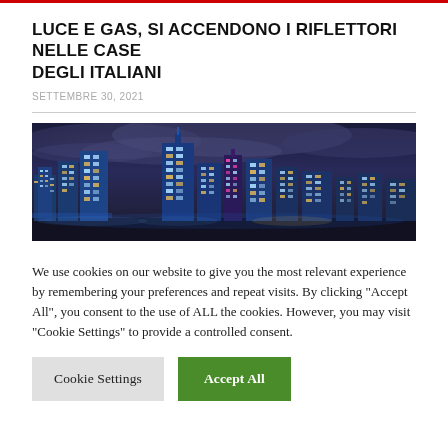LUCE E GAS, SI ACCENDONO I RIFLETTORI NELLE CASE DEGLI ITALIANI
SETTEMBRE 30, 2021
[Figure (photo): Nighttime panoramic photo of a city skyline with illuminated skyscrapers and dramatic cloudy sky in blue and purple tones]
We use cookies on our website to give you the most relevant experience by remembering your preferences and repeat visits. By clicking "Accept All", you consent to the use of ALL the cookies. However, you may visit "Cookie Settings" to provide a controlled consent.